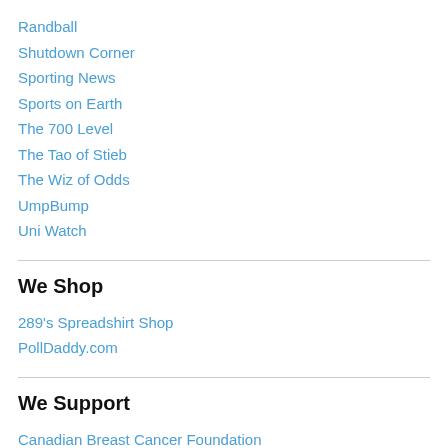Randball
Shutdown Corner
Sporting News
Sports on Earth
The 700 Level
The Tao of Stieb
The Wiz of Odds
UmpBump
Uni Watch
We Shop
289's Spreadshirt Shop
PollDaddy.com
We Support
Canadian Breast Cancer Foundation